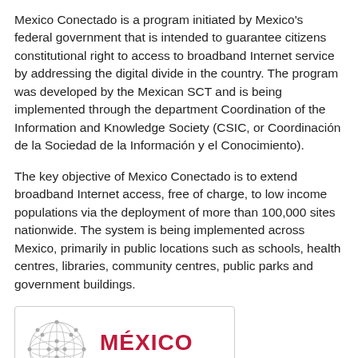Mexico Conectado is a program initiated by Mexico's federal government that is intended to guarantee citizens constitutional right to access to broadband Internet service by addressing the digital divide in the country. The program was developed by the Mexican SCT and is being implemented through the department Coordination of the Information and Knowledge Society (CSIC, or Coordinación de la Sociedad de la Información y el Conocimiento).
The key objective of Mexico Conectado is to extend broadband Internet access, free of charge, to low income populations via the deployment of more than 100,000 sites nationwide. The system is being implemented across Mexico, primarily in public locations such as schools, health centres, libraries, community centres, public parks and government buildings.
[Figure (logo): México Conectado logo: a geometric sphere made of interconnected dots and lines on the left, with 'MÉXICO' in bold red and 'CONECTADO' in grey spaced letters on the right, inside a light grey rounded border box.]